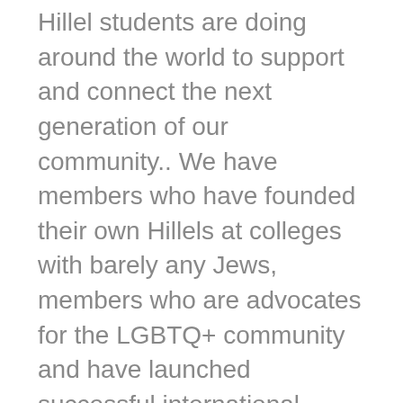Hillel students are doing around the world to support and connect the next generation of our community.. We have members who have founded their own Hillels at colleges with barely any Jews, members who are advocates for the LGBTQ+ community and have launched successful international LGBTQ+ cohorts, and members who are doing tremendous work in combating antisemitism. Being around such passionate and motivating students has inspired me to go after my own aspirations within Hillel; creating space for Jews with disabilities.
As a student with a disability, I am very